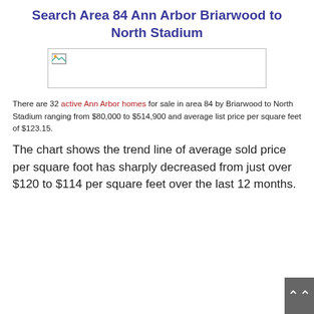Search Area 84 Ann Arbor Briarwood to North Stadium
[Figure (photo): Placeholder image box for a map or photo of Ann Arbor Area 84 Briarwood to North Stadium]
There are 32 active Ann Arbor homes for sale in area 84 by Briarwood to North Stadium ranging from $80,000 to $514,900 and average list price per square feet of $123.15.
The chart shows the trend line of average sold price per square foot has sharply decreased from just over $120 to $114 per square feet over the last 12 months.